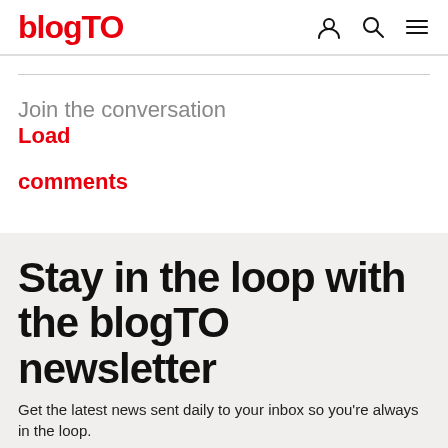blogTO
Join the conversation
Load

comments
Stay in the loop with the blogTO newsletter
Get the latest news sent daily to your inbox so you're always in the loop.